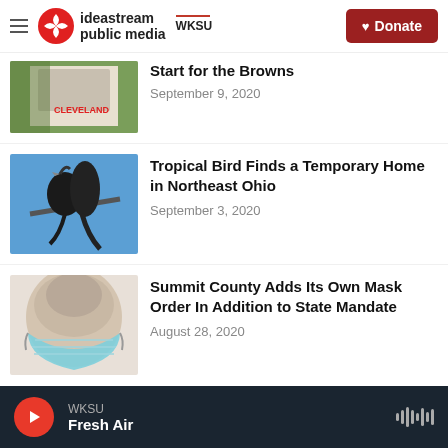ideastream public media WKSU | Donate
Start for the Browns
September 9, 2020
Tropical Bird Finds a Temporary Home in Northeast Ohio
September 3, 2020
Summit County Adds Its Own Mask Order In Addition to State Mandate
August 28, 2020
WKSU Fresh Air